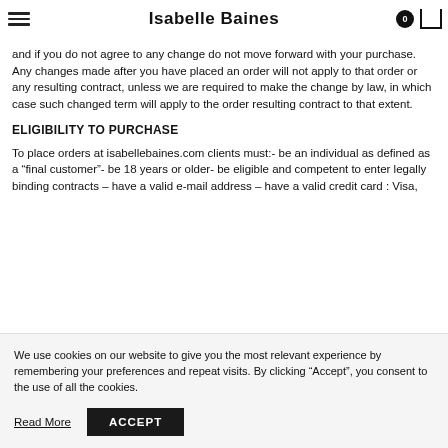Isabelle Baines
and if you do not agree to any change do not move forward with your purchase. Any changes made after you have placed an order will not apply to that order or any resulting contract, unless we are required to make the change by law, in which case such changed term will apply to the order resulting contract to that extent.
ELIGIBILITY TO PURCHASE
To place orders at isabellebaines.com clients must:- be an individual as defined as a “final customer”- be 18 years or older- be eligible and competent to enter legally binding contracts – have a valid e-mail address – have a valid credit card : Visa,
We use cookies on our website to give you the most relevant experience by remembering your preferences and repeat visits. By clicking “Accept”, you consent to the use of all the cookies.
Read More
ACCEPT